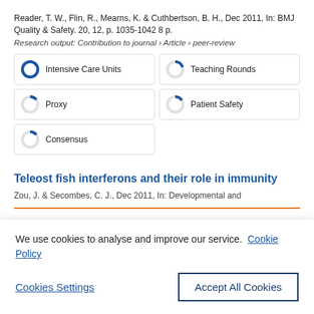Reader, T. W., Flin, R., Mearns, K. & Cuthbertson, B. H., Dec 2011, In: BMJ Quality & Safety. 20, 12, p. 1035-1042 8 p.
Research output: Contribution to journal › Article › peer-review
[Figure (infographic): Five badge-style keyword tags with donut/ring fill indicators: Intensive Care Units (full blue ring), Teaching Rounds (mostly empty ring), Proxy (mostly empty ring), Patient Safety (mostly empty ring), Consensus (mostly empty ring)]
Teleost fish interferons and their role in immunity
Zou, J. & Secombes, C. J., Dec 2011, In: Developmental and
We use cookies to analyse and improve our service. Cookie Policy
Cookies Settings
Accept All Cookies